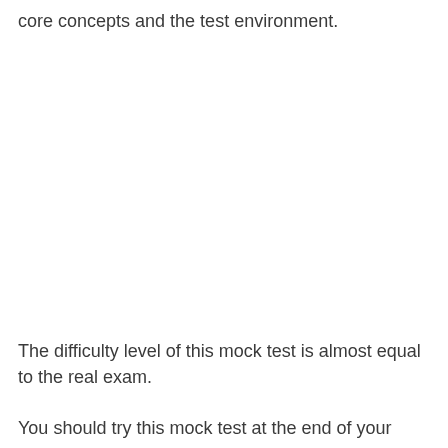core concepts and the test environment.
The difficulty level of this mock test is almost equal to the real exam.
You should try this mock test at the end of your